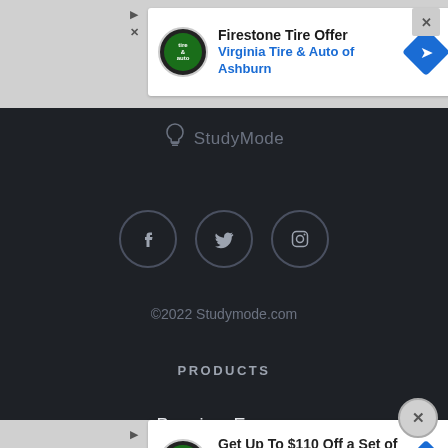[Figure (screenshot): Top advertisement banner: Firestone Tire Offer - Virginia Tire & Auto of Ashburn with logo and arrow icon]
StudyMode
[Figure (infographic): Three circular social media icons: Facebook, Twitter, Instagram]
©2022 Studymode.com
PRODUCTS
Premium Essays
Free Essays
Virtual Writing Center
AP Notes
[Figure (screenshot): Bottom advertisement banner: Get Up To $110 Off a Set of 4 Select Firestone Tires with logo and arrow icon]
iOS App